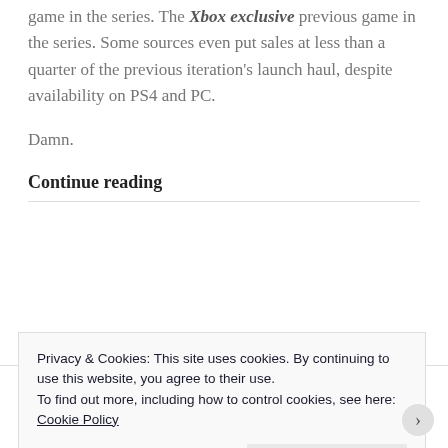game in the series. The Xbox exclusive previous game in the series. Some sources even put sales at less than a quarter of the previous iteration's launch haul, despite availability on PS4 and PC.
Damn.
Continue reading
Privacy & Cookies: This site uses cookies. By continuing to use this website, you agree to their use.
To find out more, including how to control cookies, see here:
Cookie Policy
Close and accept